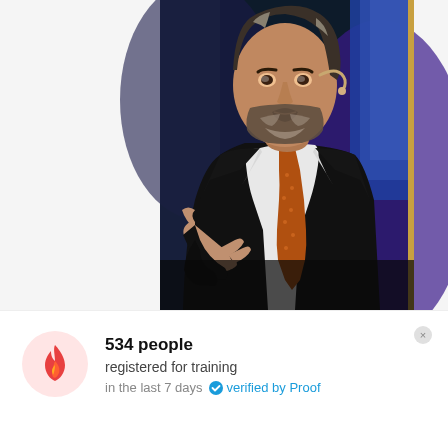[Figure (photo): A middle-aged man with salt-and-pepper beard speaking at a conference or event, wearing a black suit jacket, white shirt, and orange patterned tie. He has a headset microphone, gesturing with his hand to his chest. Background is dark blue/purple stage lighting. A gold vertical stripe appears on the right edge of the photo.]
534 people
registered for training
in the last 7 days   verified by Proof